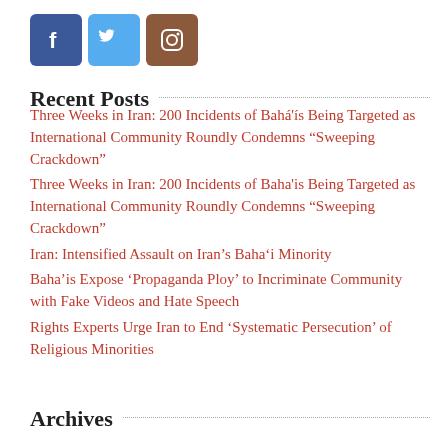[Figure (logo): Three social media icons: Facebook (blue), Twitter (light blue), Instagram (brown)]
Recent Posts
Three Weeks in Iran: 200 Incidents of Bahá'ís Being Targeted as International Community Roundly Condemns “Sweeping Crackdown”
Three Weeks in Iran: 200 Incidents of Baha'is Being Targeted as International Community Roundly Condemns “Sweeping Crackdown”
Iran: Intensified Assault on Iran’s Baha’i Minority
Baha’is Expose ‘Propaganda Ploy’ to Incriminate Community with Fake Videos and Hate Speech
Rights Experts Urge Iran to End ‘Systematic Persecution’ of Religious Minorities
Archives